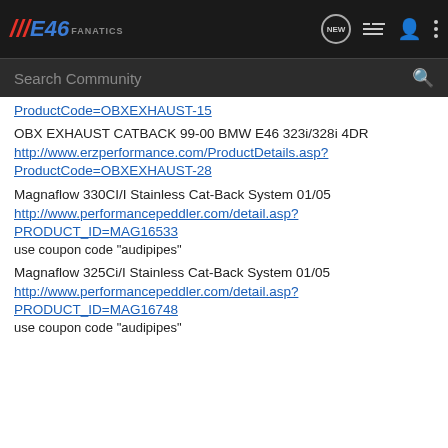[Figure (screenshot): E46Fanatics website navigation bar with logo, NEW button, menu icons, user icon, and dots menu]
ProductCode=OBXEXHAUST-15
OBX EXHAUST CATBACK 99-00 BMW E46 323i/328i 4DR
http://www.erzperformance.com/ProductDetails.asp?ProductCode=OBXEXHAUST-28
Magnaflow 330CI/I Stainless Cat-Back System 01/05
http://www.performancepeddler.com/detail.asp?PRODUCT_ID=MAG16533
use coupon code "audipipes"
Magnaflow 325Ci/I Stainless Cat-Back System 01/05
http://www.performancepeddler.com/detail.asp?PRODUCT_ID=MAG16748
use coupon code "audipipes"